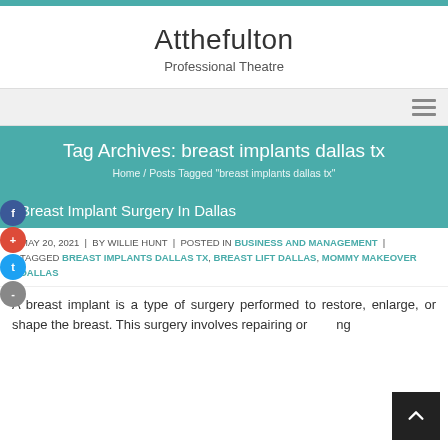Atthefulton
Professional Theatre
Tag Archives: breast implants dallas tx
Home / Posts Tagged "breast implants dallas tx"
Breast Implant Surgery In Dallas
MAY 20, 2021 | BY WILLIE HUNT | POSTED IN BUSINESS AND MANAGEMENT | TAGGED BREAST IMPLANTS DALLAS TX, BREAST LIFT DALLAS, MOMMY MAKEOVER DALLAS
A breast implant is a type of surgery performed to restore, enlarge, or shape the breast. This surgery involves repairing or replacing